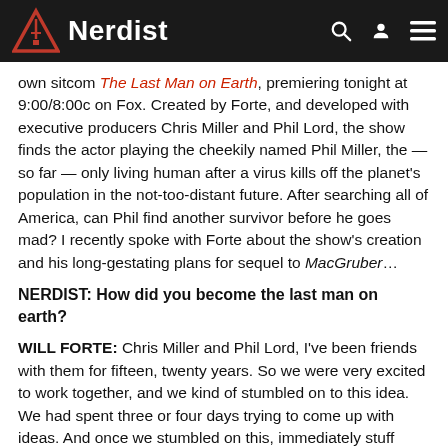Nerdist
own sitcom The Last Man on Earth, premiering tonight at 9:00/8:00c on Fox. Created by Forte, and developed with executive producers Chris Miller and Phil Lord, the show finds the actor playing the cheekily named Phil Miller, the — so far — only living human after a virus kills off the planet's population in the not-too-distant future. After searching all of America, can Phil find another survivor before he goes mad? I recently spoke with Forte about the show's creation and his long-gestating plans for sequel to MacGruber…
NERDIST: How did you become the last man on earth?
WILL FORTE: Chris Miller and Phil Lord, I've been friends with them for fifteen, twenty years. So we were very excited to work together, and we kind of stumbled on to this idea. We had spent three or four days trying to come up with ideas. And once we stumbled on this, immediately stuff started pouring out of us, and a bunch of very fun things started flooding into us. At first, it seemed like more of a cable TV idea. Then Fox stepped up and really wanted it. They pledged to us that they wanted to do something new, and we